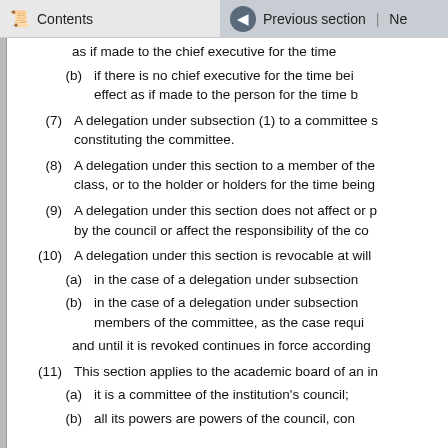Contents | Previous section | Ne
as if made to the chief executive for the time
(b) if there is no chief executive for the time bei effect as if made to the person for the time b
(7) A delegation under subsection (1) to a committee s constituting the committee.
(8) A delegation under this section to a member of the class, or to the holder or holders for the time being
(9) A delegation under this section does not affect or p by the council or affect the responsibility of the co
(10) A delegation under this section is revocable at will
(a) in the case of a delegation under subsection
(b) in the case of a delegation under subsection members of the committee, as the case requi
and until it is revoked continues in force according
(11) This section applies to the academic board of an in
(a) it is a committee of the institution's council;
(b) all its powers are powers of the council, con